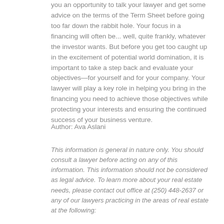you an opportunity to talk your lawyer and get some advice on the terms of the Term Sheet before going too far down the rabbit hole. Your focus in a financing will often be... well, quite frankly, whatever the investor wants. But before you get too caught up in the excitement of potential world domination, it is important to take a step back and evaluate your objectives—for yourself and for your company. Your lawyer will play a key role in helping you bring in the financing you need to achieve those objectives while protecting your interests and ensuring the continued success of your business venture.
Author: Ava Aslani
This information is general in nature only. You should consult a lawyer before acting on any of this information. This information should not be considered as legal advice. To learn more about your real estate needs, please contact out office at (250) 448-2637 or any of our lawyers practicing in the areas of real estate at the following: